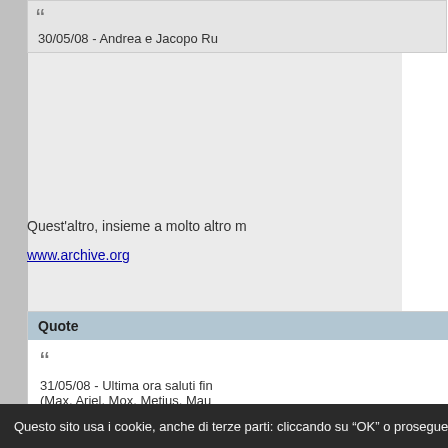who don't.
30/05/08 - Andrea e Jacopo Ru
Quest'altro, insieme a molto altro m
www.archive.org
Quote
31/05/08 - Ultima ora saluti fin
(Max, Ariel, Mox, Metius, Mau
Claudia, finale)
scarica
------------------------
And all the pressure that's been buil
For all the years it bore the load
The cracks appear, the frame starts
Ready to explode - Jawbreaker
Questo sito usa i cookie, anche di terze parti: cliccando su "OK" o proseguendo